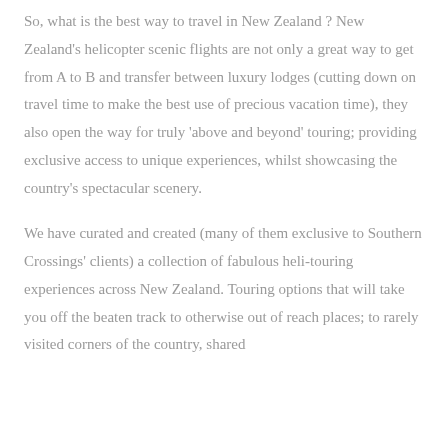So, what is the best way to travel in New Zealand ? New Zealand's helicopter scenic flights are not only a great way to get from A to B and transfer between luxury lodges (cutting down on travel time to make the best use of precious vacation time), they also open the way for truly 'above and beyond' touring; providing exclusive access to unique experiences, whilst showcasing the country's spectacular scenery.
We have curated and created (many of them exclusive to Southern Crossings' clients) a collection of fabulous heli-touring experiences across New Zealand. Touring options that will take you off the beaten track to otherwise out of reach places; to rarely visited corners of the country, shared with it seems, no living person.